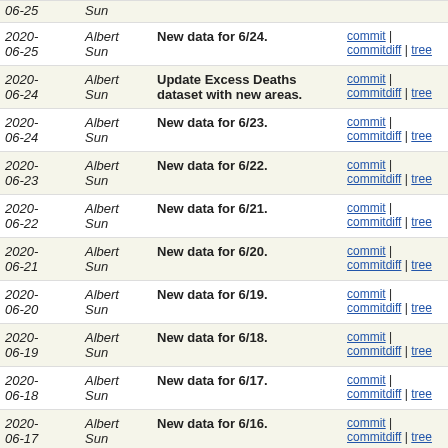| Date | Author | Message | Links |
| --- | --- | --- | --- |
| 2020-06-25 | Albert Sun | New data for 6/24. | commit | commitdiff | tree |
| 2020-06-24 | Albert Sun | Update Excess Deaths dataset with new areas. | commit | commitdiff | tree |
| 2020-06-24 | Albert Sun | New data for 6/23. | commit | commitdiff | tree |
| 2020-06-23 | Albert Sun | New data for 6/22. | commit | commitdiff | tree |
| 2020-06-22 | Albert Sun | New data for 6/21. | commit | commitdiff | tree |
| 2020-06-21 | Albert Sun | New data for 6/20. | commit | commitdiff | tree |
| 2020-06-20 | Albert Sun | New data for 6/19. | commit | commitdiff | tree |
| 2020-06-19 | Albert Sun | New data for 6/18. | commit | commitdiff | tree |
| 2020-06-18 | Albert Sun | New data for 6/17. | commit | commitdiff | tree |
| 2020-06-17 | Albert Sun | New data for 6/16. | commit | commitdiff | tree |
| 2020-06-16 | Albert Sun | New data for 6/15. | commit | commitdiff | tree |
| 2020-06-15 | Albert Sun | New data for 6/14. | commit | commitdiff | tree |
| 2020-06-14 | Albert Sun | New data for 6/13. | commit | commitdiff | tree |